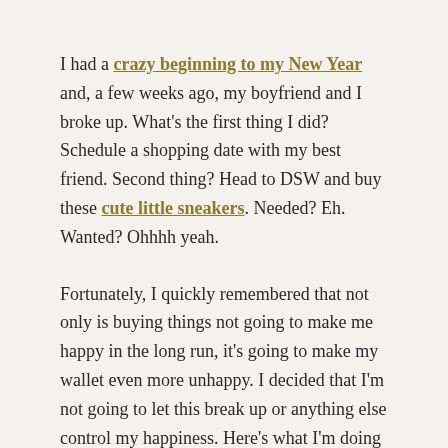I had a crazy beginning to my New Year and, a few weeks ago, my boyfriend and I broke up. What's the first thing I did? Schedule a shopping date with my best friend. Second thing? Head to DSW and buy these cute little sneakers. Needed? Eh. Wanted? Ohhhh yeah.
Fortunately, I quickly remembered that not only is buying things not going to make me happy in the long run, it's going to make my wallet even more unhappy. I decided that I'm not going to let this break up or anything else control my happiness. Here's what I'm doing instead
I rejoined the gym near my work. The one that I pay a ridiculous amount for but I love it and I actually go so it's worth it. I've started going at lunchtime which enables